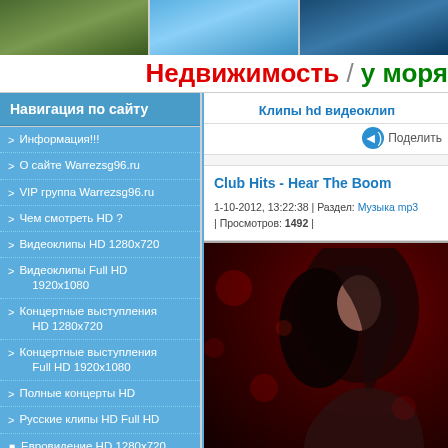[Figure (photo): Top banner strip with three photo thumbnails of outdoor/water scenes]
Недвижимость / у моря
Навигация по сайту
> Информация!!!
> О сайте Warrezsg96.ru
> VIP группа Warrezsg96.ru
> Чем смотреть HD ?
> Видеоклипы HD 1280x720
> Видеоклипы Full HD 1920x1080
> Концертные выступления HD 1280x720
> Концертные выступления Full HD 1920x1080
> Полные концерты HD
> Русские клипы HD Full HD
⊞ Евровидение HD 1280x720
⊞ Фильмы HD Full HD
Клипы hd видеоклип
Поделить
Club Hits - Hear The Boom
1-10-2012, 13:22:38 | Раздел: Музыка mp3 | Просмотров: 1492 |
[Figure (photo): Dark red toned photo of a woman with flowing dark hair against a red bokeh background]